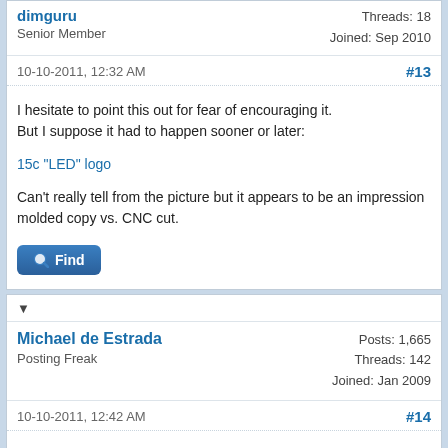Senior Member
Threads: 18
Joined: Sep 2010
10-10-2011, 12:32 AM
#13
I hesitate to point this out for fear of encouraging it.
But I suppose it had to happen sooner or later:
15c "LED" logo
Can't really tell from the picture but it appears to be an impression molded copy vs. CNC cut.
[Figure (other): Find button with magnifying glass icon]
▼
Michael de Estrada
Posting Freak
Posts: 1,665
Threads: 142
Joined: Jan 2009
10-10-2011, 12:42 AM
#14
Doesn't seem very profitable, since most HP 15C logos have